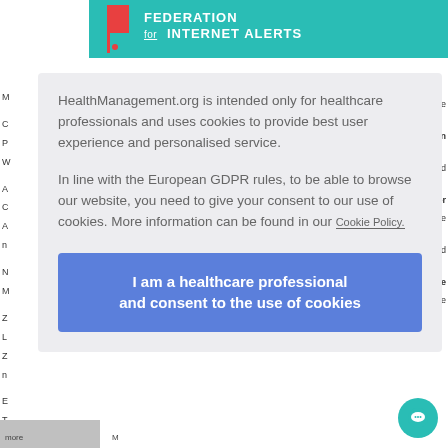[Figure (logo): Federation for Internet Alerts banner with teal background, red flag icon, and white bold text reading FEDERATION FOR INTERNET ALERTS]
HealthManagement.org is intended only for healthcare professionals and uses cookies to provide best user experience and personalised service.

In line with the European GDPR rules, to be able to browse our website, you need to give your consent to our use of cookies. More information can be found in our Cookie Policy.
I am a healthcare professional and consent to the use of cookies